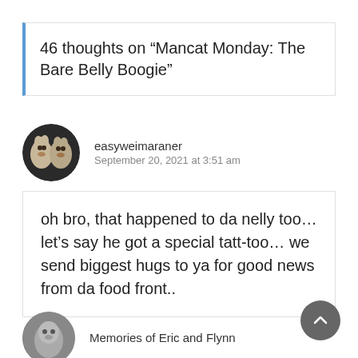46 thoughts on “Mancat Monday: The Bare Belly Boogie”
easyweimaraner
September 20, 2021 at 3:51 am
oh bro, that happened to da nelly too… let’s say he got a special tatt-too… we send biggest hugs to ya for good news from da food front..
Memories of Eric and Flynn